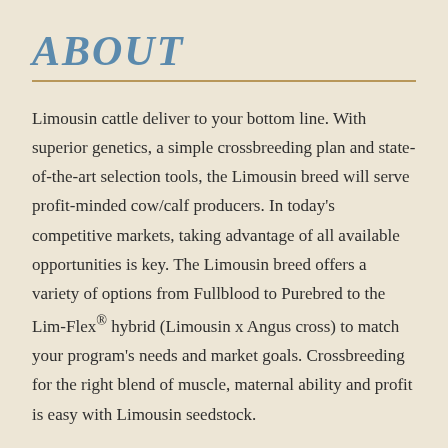ABOUT
Limousin cattle deliver to your bottom line. With superior genetics, a simple crossbreeding plan and state-of-the-art selection tools, the Limousin breed will serve profit-minded cow/calf producers. In today's competitive markets, taking advantage of all available opportunities is key. The Limousin breed offers a variety of options from Fullblood to Purebred to the Lim-Flex® hybrid (Limousin x Angus cross) to match your program's needs and market goals. Crossbreeding for the right blend of muscle, maternal ability and profit is easy with Limousin seedstock.